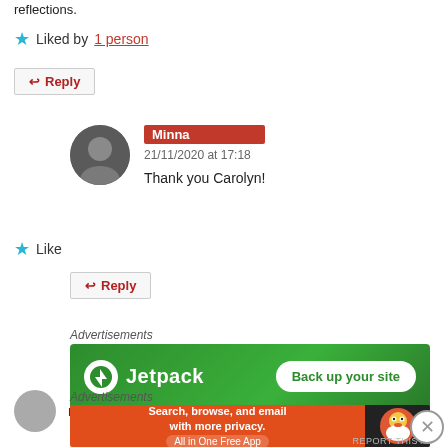reflections.
★ Liked by 1 person
↩ Reply
Minna
21/11/2020 at 17:18
Thank you Carolyn!
★ Like
↩ Reply
Advertisements
[Figure (other): Jetpack advertisement banner: Back up your site]
REPORT THIS AD
magickmermaid
Advertisements
[Figure (other): DuckDuckGo advertisement: Search, browse, and email with more privacy. All in One Free App]
REPORT THIS AD